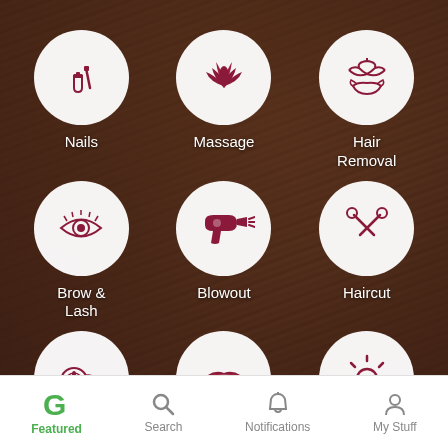[Figure (screenshot): Beauty service app interface showing 9 service category icons arranged in a 3x3 grid over a dark hair background photo. Each category has a white circle with a crimson/dark-red icon and a white label below. Services: Nails, Massage, Hair Removal, Brow & Lash, Blowout, Haircut, Facial, Makeup, Tanning. Bottom navigation bar with Featured (active, green), Search, Notifications, My Stuff.]